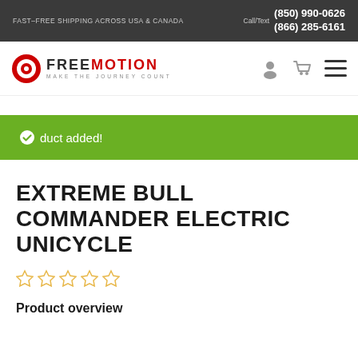FAST-FREE SHIPPING ACROSS USA & CANADA | Call/Text (850) 990-0626 (866) 285-6161
[Figure (logo): FreeMotion logo with circular target icon and tagline MAKE THE JOURNEY COUNT]
Product added!
EXTREME BULL COMMANDER ELECTRIC UNICYCLE
☆ ☆ ☆ ☆ ☆
Product overview